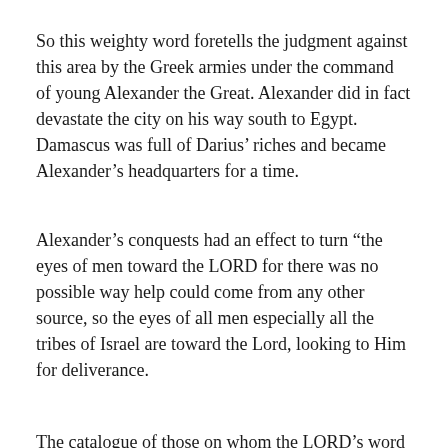So this weighty word foretells the judgment against this area by the Greek armies under the command of young Alexander the Great. Alexander did in fact devastate the city on his way south to Egypt. Damascus was full of Darius' riches and became Alexander's headquarters for a time.
Alexander's conquests had an effect to turn “the eyes of men toward the LORD for there was no possible way help could come from any other source, so the eyes of all men especially all the tribes of Israel are toward the Lord, looking to Him for deliverance.
The catalogue of those on whom the LORD’s word of judgment lands begins with Syria? “And though the